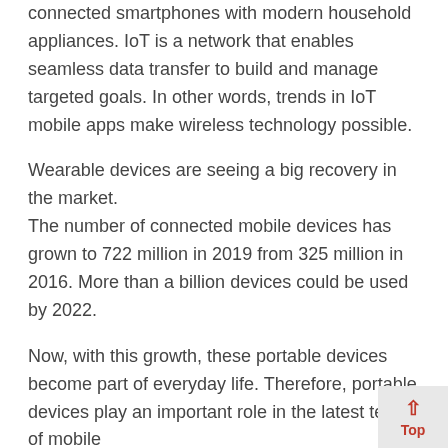connected smartphones with modern household appliances. IoT is a network that enables seamless data transfer to build and manage targeted goals. In other words, trends in IoT mobile apps make wireless technology possible.
Wearable devices are seeing a big recovery in the market. The number of connected mobile devices has grown to 722 million in 2019 from 325 million in 2016. More than a billion devices could be used by 2022.
Now, with this growth, these portable devices become part of everyday life. Therefore, portable devices play an important role in the latest terms of mobile